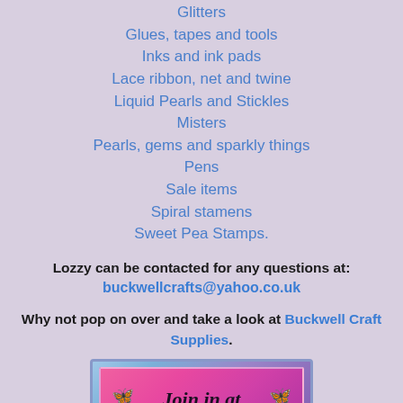Glitters
Glues, tapes and tools
Inks and ink pads
Lace ribbon, net and twine
Liquid Pearls and Stickles
Misters
Pearls, gems and sparkly things
Pens
Sale items
Spiral stamens
Sweet Pea Stamps.
Lozzy can be contacted for any questions at: buckwellcrafts@yahoo.co.uk
Why not pop on over and take a look at Buckwell Craft Supplies.
[Figure (illustration): Banner image with pink/purple gradient background, butterfly decorations, and text 'Join in at Buckwell's Crafty']